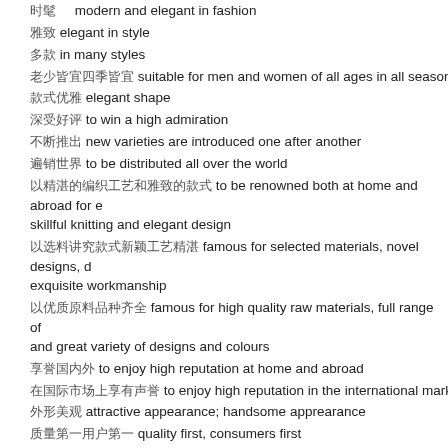时髦 modern and elegant in fashion
雅致 elegant in style
多款 in many styles
老少皆宜四季皆宜 suitable for men and women of all ages in all seasons
款式优雅 elegant shape
深受好评 to win a high admiration
不断推出 new varieties are introduced one after another
遍销世界 to be distributed all over the world
以精湛的编织工艺和雅致的款式 to be renowned both at home and abroad for skillful knitting and elegant design
以选料讲究款式新颖工艺精湛 famous for selected materials, novel designs, exquisite workmanship
以优质原料品种齐全 famous for high quality raw materials, full range of and great variety of designs and colours
享誉国内外 to enjoy high reputation at home and abroad
在国际市场上享有声誉 to enjoy high reputation in the international market
外形美观 attractive appearance; handsome apprearance
质量第一用户第一 quality first, consumers first
品种多样 wide varieties